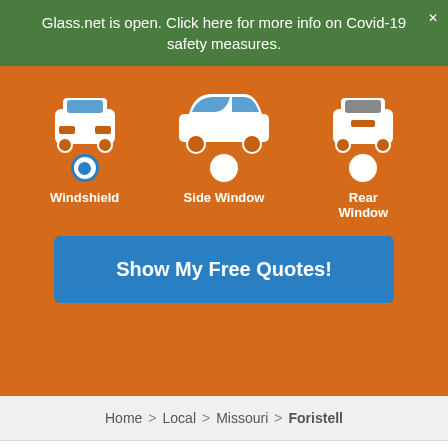Glass.net is open. Click here for more info on Covid-19 safety measures.
[Figure (infographic): Car window selection widget on orange background with three options: Windshield (selected with blue radio button), Side Window, and Rear Window, each shown with a white car icon from the front, side, or rear view.]
Show My Free Quotes!
Home > Local > Missouri > Foristell
We use cookies to enhance your experience. Cookie settings